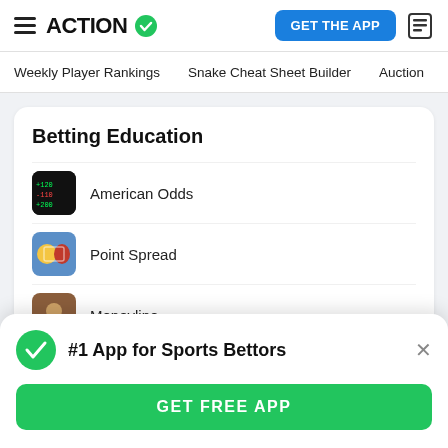ACTION
GET THE APP
Weekly Player Rankings  Snake Cheat Sheet Builder  Auction
Betting Education
American Odds
Point Spread
Moneyline
#1 App for Sports Bettors
GET FREE APP